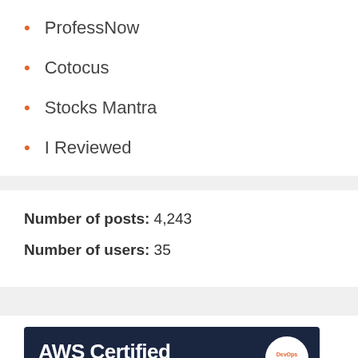ProfessNow
Cotocus
Stocks Mantra
I Reviewed
Number of posts: 4,243
Number of users: 35
[Figure (illustration): AWS Certified DevOps Professional advertisement banner from DevOps School with a cartoon character and text 'Start Learning Today's']